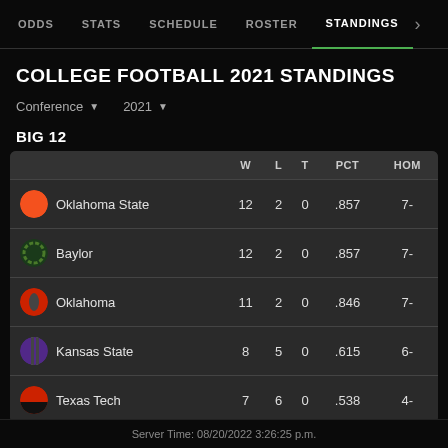ODDS  STATS  SCHEDULE  ROSTER  STANDINGS
COLLEGE FOOTBALL 2021 STANDINGS
Conference ▼   2021 ▼
BIG 12
|  | W | L | T | PCT | HOM |
| --- | --- | --- | --- | --- | --- |
| Oklahoma State | 12 | 2 | 0 | .857 | 7- |
| Baylor | 12 | 2 | 0 | .857 | 7- |
| Oklahoma | 11 | 2 | 0 | .846 | 7- |
| Kansas State | 8 | 5 | 0 | .615 | 6- |
| Texas Tech | 7 | 6 | 0 | .538 | 4- |
Server Time: 08/20/2022 3:26:25 p.m.